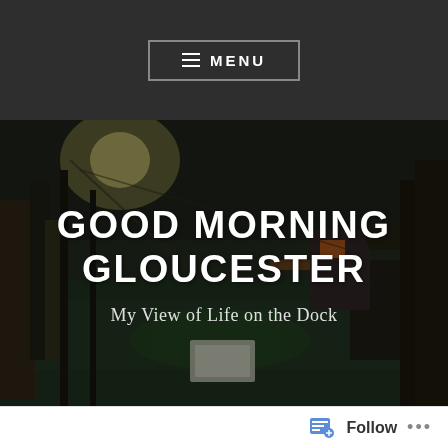≡ MENU
[Figure (photo): Dark artistic photo of a dock/harbor with boats and equipment, rendered with a painterly/sketch filter effect in dark blues and greens]
GOOD MORNING GLOUCESTER
My View of Life on the Dock
IT IS ALL ABOUT THE DOGS – GARBO AND CONNER
Follow ...